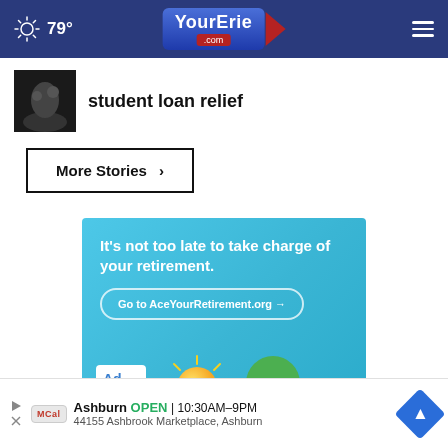79° YourErie.com
student loan relief
More Stories ›
[Figure (infographic): Advertisement from Ad Council: 'It's not too late to take charge of your retirement. Go to AceYourRetirement.org →' with coin and green character illustration]
Ashburn OPEN | 10:30AM–9PM 44155 Ashbrook Marketplace, Ashburn